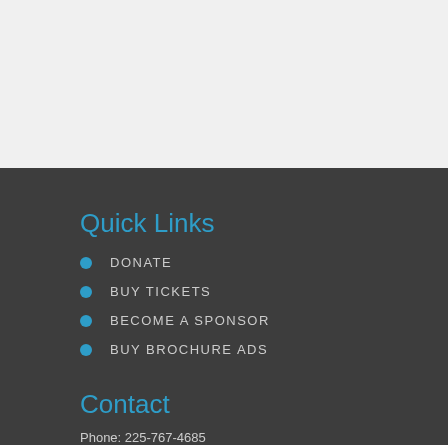Quick Links
DONATE
BUY TICKETS
BECOME A SPONSOR
BUY BROCHURE ADS
Contact
Phone: 225-767-4685